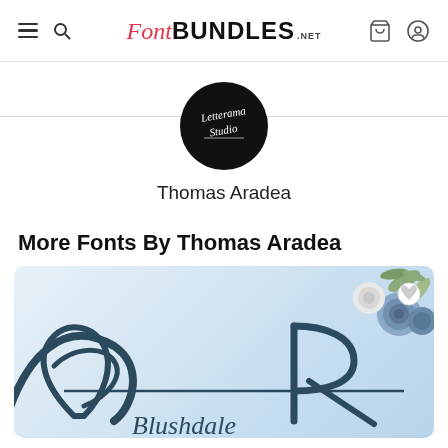FontBundles.NET navigation bar
[Figure (logo): FontBundles.NET logo with Font in italic red and BUNDLES in bold black, .NET in small caps]
[Figure (logo): Letterama Studio circular black logo with signature script text]
Thomas Aradea
More Fonts By Thomas Aradea
[Figure (illustration): Font preview card showing decorative script letters forming a monogram/word in dark navy blue on a light blue background with floral decoration (roses and greenery) in the top right corner]